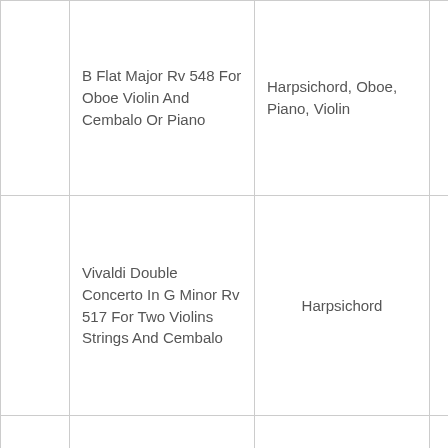|  | Title | Instruments | Level |
| --- | --- | --- | --- |
|  | B Flat Major Rv 548 For Oboe Violin And Cembalo Or Piano | Harpsichord, Oboe, Piano, Violin | Advanced |
|  | Vivaldi Double Concerto In G Minor Rv 517 For Two Violins Strings And Cembalo | Harpsichord | Advanced |
|  | Vivaldi Double |  |  |